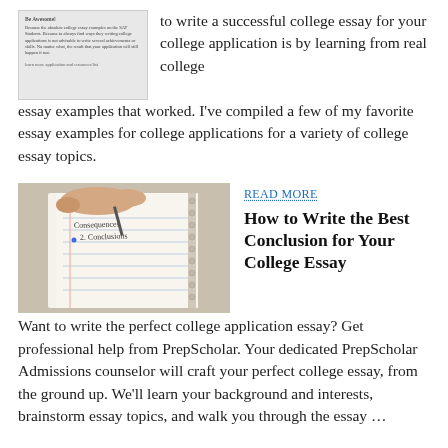[Figure (screenshot): Small thumbnail image showing a blog post about college essays]
to write a successful college essay for your college application is by learning from real college essay examples that worked. I've compiled a few of my favorite essay examples for college applications for a variety of college essay topics.
[Figure (photo): Close-up photo of hands writing in a notebook with handwriting visible]
READ MORE
How to Write the Best Conclusion for Your College Essay
Want to write the perfect college application essay? Get professional help from PrepScholar. Your dedicated PrepScholar Admissions counselor will craft your perfect college essay, from the ground up. We'll learn your background and interests, brainstorm essay topics, and walk you through the essay …